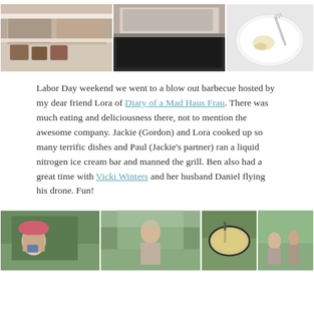[Figure (photo): Three photos side by side showing a café/deli store interior with shelves and display cases, and a plate with fork and food remnants]
Labor Day weekend we went to a blow out barbecue hosted by my dear friend Lora of Diary of a Mad Haus Frau. There was much eating and deliciousness there, not to mention the awesome company. Jackie (Gordon) and Lora cooked up so many terrific dishes and Paul (Jackie's partner) ran a liquid nitrogen ice cream bar and manned the grill. Ben also had a great time with Vicki Winters and her husband Daniel flying his drone. Fun!
[Figure (photo): Four photos side by side showing outdoor barbecue scenes: a woman with pink hat taking selfie, a man outdoors, a grill with food, and people in a garden]